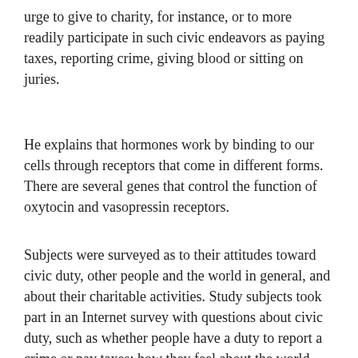urge to give to charity, for instance, or to more readily participate in such civic endeavors as paying taxes, reporting crime, giving blood or sitting on juries.
He explains that hormones work by binding to our cells through receptors that come in different forms. There are several genes that control the function of oxytocin and vasopressin receptors.
Subjects were surveyed as to their attitudes toward civic duty, other people and the world in general, and about their charitable activities. Study subjects took part in an Internet survey with questions about civic duty, such as whether people have a duty to report a crime or pay taxes; how they feel about the world, such as whether people are basically good or whether the world is more good than bad; and about their own charitable activities, like giving blood, working for charity or going to PTA meetings.